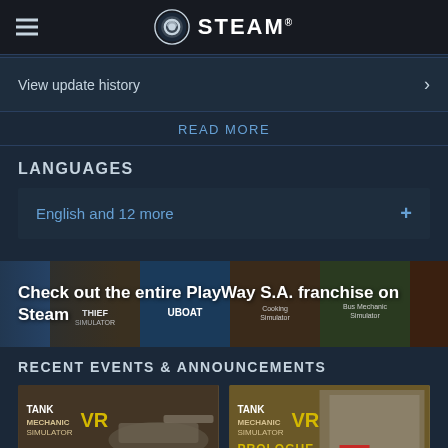STEAM
View update history
READ MORE
LANGUAGES
English and 12 more
[Figure (screenshot): PlayWay S.A. franchise banner on Steam showing various game thumbnails including Thief Simulator, UBOAT, Cooking Simulator, Bus Mechanic Simulator with text: Check out the entire PlayWay S.A. franchise on Steam]
RECENT EVENTS & ANNOUNCEMENTS
[Figure (screenshot): Tank Mechanic Simulator VR game thumbnail]
[Figure (screenshot): Tank Mechanic Simulator VR Prologue game thumbnail]